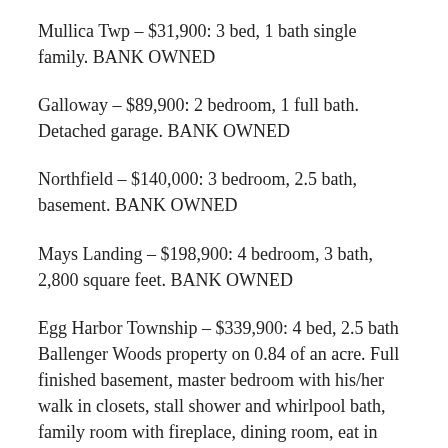Mullica Twp – $31,900: 3 bed, 1 bath single family. BANK OWNED
Galloway – $89,900: 2 bedroom, 1 full bath. Detached garage. BANK OWNED
Northfield – $140,000: 3 bedroom, 2.5 bath, basement. BANK OWNED
Mays Landing – $198,900: 4 bedroom, 3 bath, 2,800 square feet. BANK OWNED
Egg Harbor Township – $339,900: 4 bed, 2.5 bath Ballenger Woods property on 0.84 of an acre. Full finished basement, master bedroom with his/her walk in closets, stall shower and whirlpool bath, family room with fireplace, dining room, eat in kitchen with center island, laundry room with tub, 2 car